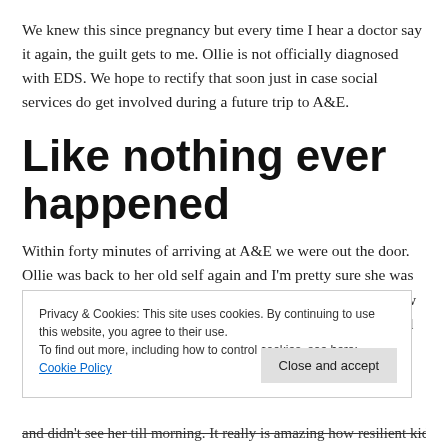We knew this since pregnancy but every time I hear a doctor say it again, the guilt gets to me. Ollie is not officially diagnosed with EDS. We hope to rectify that soon just in case social services do get involved during a future trip to A&E.
Like nothing ever happened
Within forty minutes of arriving at A&E we were out the door. Ollie was back to her old self again and I'm pretty sure she was on a sugar buzz after that medicine. She kept talking about how the doctor fixed her and that she was all better now. We arrived home and the three of us sat on the couch to unwind after a stressful couple of hours.
Privacy & Cookies: This site uses cookies. By continuing to use this website, you agree to their use.
To find out more, including how to control cookies, see here: Cookie Policy
and didn't see her till morning. It really is amazing how resilient kids